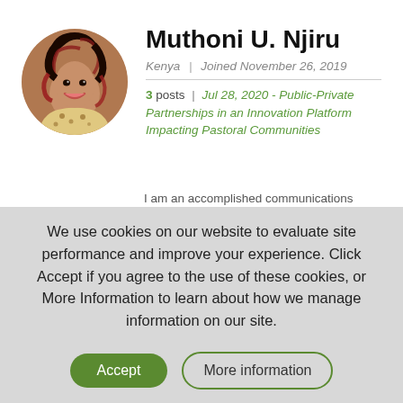[Figure (photo): Circular profile photo of Muthoni U. Njiru, a woman with red-highlighted curly hair, smiling, wearing a leopard print top]
Muthoni U. Njiru
Kenya | Joined November 26, 2019
3 posts | Jul 28, 2020 - Public-Private Partnerships in an Innovation Platform Impacting Pastoral Communities
I am an accomplished communications
We use cookies on our website to evaluate site performance and improve your experience. Click Accept if you agree to the use of these cookies, or More Information to learn about how we manage information on our site.